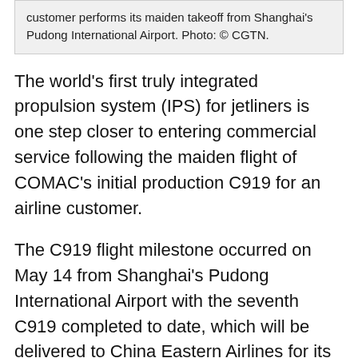customer performs its maiden takeoff from Shanghai's Pudong International Airport. Photo: © CGTN.
The world's first truly integrated propulsion system (IPS) for jetliners is one step closer to entering commercial service following the maiden flight of COMAC's initial production C919 for an airline customer.
The C919 flight milestone occurred on May 14 from Shanghai's Pudong International Airport with the seventh C919 completed to date, which will be delivered to China Eastern Airlines for its OTT Airlines regional subsidiary. The six previously-built C919s have been used for COMAC's flight test and certification program, operating from four locations across China – including Pudong International Airport, which is adjacent to the C919's final assembly